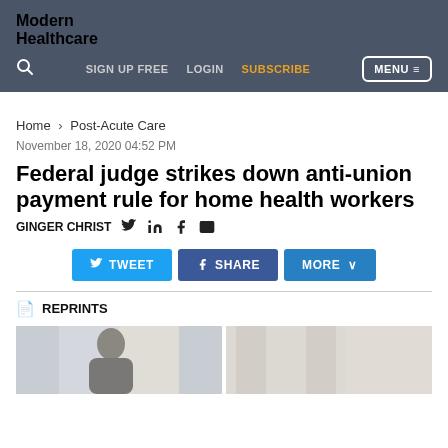Modern Healthcare
SIGN UP FREE  LOGIN  SUBSCRIBE  MENU
Home > Post-Acute Care
November 18, 2020 04:52 PM
Federal judge strikes down anti-union payment rule for home health workers
GINGER CHRIST
TWEET  SHARE  MORE
REPRINTS
[Figure (photo): Two side-by-side photos partially visible at bottom of page]